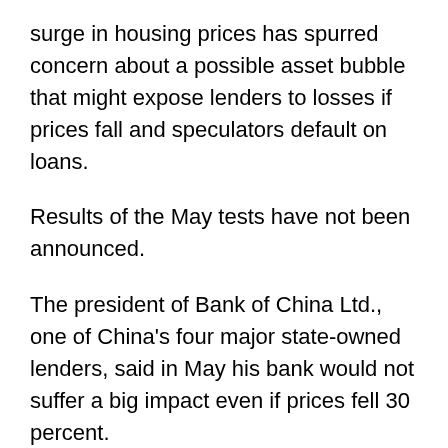surge in housing prices has spurred concern about a possible asset bubble that might expose lenders to losses if prices fall and speculators default on loans.
Results of the May tests have not been announced.
The president of Bank of China Ltd., one of China's four major state-owned lenders, said in May his bank would not suffer a big impact even if prices fell 30 percent.
Beijing imposed lending curbs in April to cool surging housing prices.